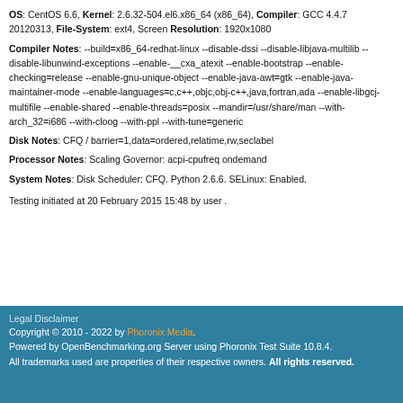OS: CentOS 6.6, Kernel: 2.6.32-504.el6.x86_64 (x86_64), Compiler: GCC 4.4.7 20120313, File-System: ext4, Screen Resolution: 1920x1080
Compiler Notes: --build=x86_64-redhat-linux --disable-dssi --disable-libjava-multilib --disable-libunwind-exceptions --enable-__cxa_atexit --enable-bootstrap --enable-checking=release --enable-gnu-unique-object --enable-java-awt=gtk --enable-java-maintainer-mode --enable-languages=c,c++,objc,obj-c++,java,fortran,ada --enable-libgcj-multifile --enable-shared --enable-threads=posix --mandir=/usr/share/man --with-arch_32=i686 --with-cloog --with-ppl --with-tune=generic
Disk Notes: CFQ / barrier=1,data=ordered,relatime,rw,seclabel
Processor Notes: Scaling Governor: acpi-cpufreq ondemand
System Notes: Disk Scheduler: CFQ. Python 2.6.6. SELinux: Enabled.
Testing initiated at 20 February 2015 15:48 by user .
Legal Disclaimer
Copyright © 2010 - 2022 by Phoronix Media.
Powered by OpenBenchmarking.org Server using Phoronix Test Suite 10.8.4.
All trademarks used are properties of their respective owners. All rights reserved.